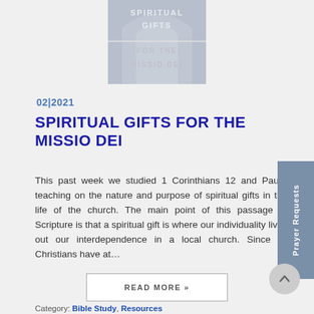[Figure (illustration): Book cover image showing 'SPIRITUAL GIFTS FOR THE MISSIO DEI' text on a gray/blue background with cathedral-like architecture]
02|2021
SPIRITUAL GIFTS FOR THE MISSIO DEI
This past week we studied 1 Corinthians 12 and Paul's teaching on the nature and purpose of spiritual gifts in the life of the church. The main point of this passage of Scripture is that a spiritual gift is where our individuality lives out our interdependence in a local church. Since all Christians have at…
READ MORE »
Category: Bible Study, Resources